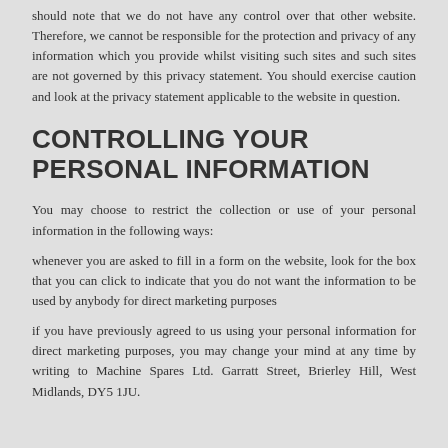should note that we do not have any control over that other website. Therefore, we cannot be responsible for the protection and privacy of any information which you provide whilst visiting such sites and such sites are not governed by this privacy statement. You should exercise caution and look at the privacy statement applicable to the website in question.
CONTROLLING YOUR PERSONAL INFORMATION
You may choose to restrict the collection or use of your personal information in the following ways:
whenever you are asked to fill in a form on the website, look for the box that you can click to indicate that you do not want the information to be used by anybody for direct marketing purposes
if you have previously agreed to us using your personal information for direct marketing purposes, you may change your mind at any time by writing to Machine Spares Ltd. Garratt Street, Brierley Hill, West Midlands, DY5 1JU.